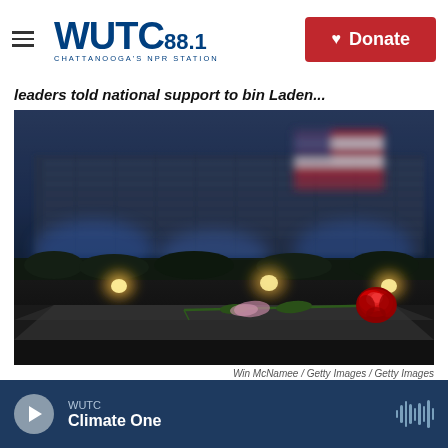WUTC 88.1 CHATTANOOGA'S NPR STATION | Donate
leaders told national support to bin Laden...
[Figure (photo): A red rose placed on a dark stone memorial surface in the foreground, with the Pentagon building illuminated with blue lights and an American flag visible in the blurred background at dusk.]
Win McNamee / Getty Images / Getty Images
WUTC
Climate One